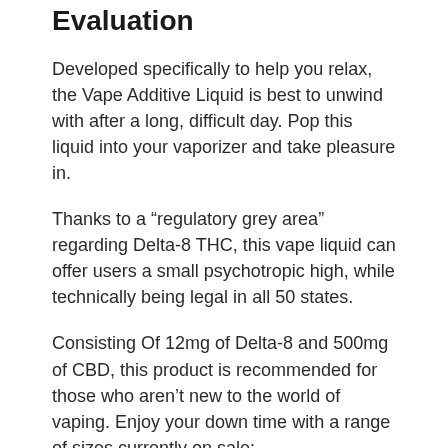Evaluation
Developed specifically to help you relax, the Vape Additive Liquid is best to unwind with after a long, difficult day. Pop this liquid into your vaporizer and take pleasure in.
Thanks to a “regulatory grey area” regarding Delta-8 THC, this vape liquid can offer users a small psychotropic high, while technically being legal in all 50 states.
Consisting Of 12mg of Delta-8 and 500mg of CBD, this product is recommended for those who aren’t new to the world of vaping. Enjoy your down time with a range of sizes currently on sale: